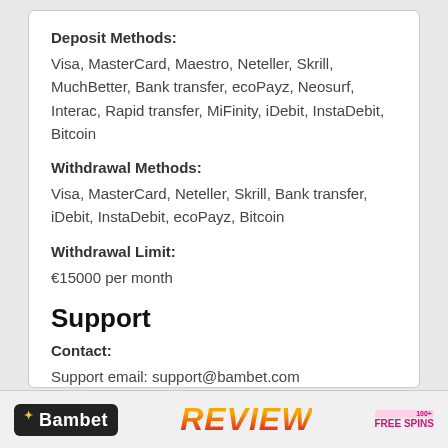Deposit Methods:
Visa, MasterCard, Maestro, Neteller, Skrill, MuchBetter, Bank transfer, ecoPayz, Neosurf, Interac, Rapid transfer, MiFinity, iDebit, InstaDebit, Bitcoin
Withdrawal Methods:
Visa, MasterCard, Neteller, Skrill, Bank transfer, iDebit, InstaDebit, ecoPayz, Bitcoin
Withdrawal Limit:
€15000 per month
Support
Contact:
Support email: support@bambet.com
Bambet | REVIEW | FREE SPINS